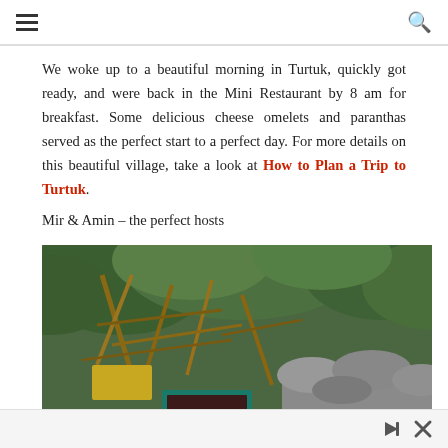☰  🔍
We woke up to a beautiful morning in Turtuk, quickly got ready, and were back in the Mini Restaurant by 8 am for breakfast. Some delicious cheese omelets and paranthas served as the perfect start to a perfect day. For more details on this beautiful village, take a look at How to Plan a Trip to Turtuk.
Mir & Amin – the perfect hosts
[Figure (photo): Outdoor scene showing wooden stick structures, green foliage/trees in background, and rocky/stone elements in the foreground — likely a rustic village setting in Turtuk.]